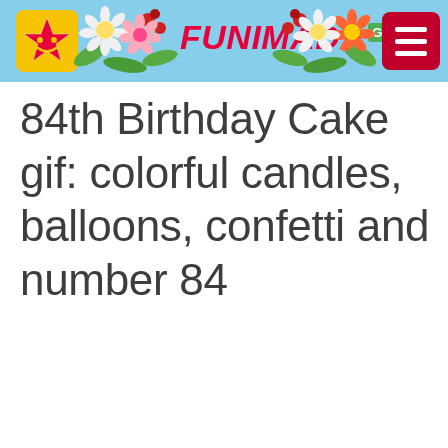FUNIMADA GIFs
84th Birthday Cake gif: colorful candles, balloons, confetti and number 84